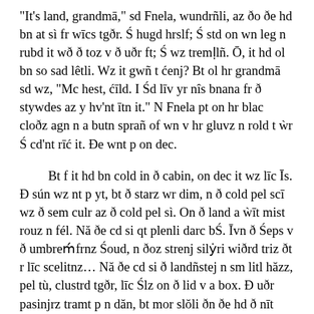“It’s land, grandmā,” sd Fnela, wundrñli, az ðo ðe hd bn at sì fr wīcs tgðr. Ś hugd hrslf; Ś std on wn leg n rubd it wð ð toz v ð uðr ft; Ś wz tremḷlñ. Ō, it hd ol bn so sad lêtli. Wz it gwñ t ćenj? Bt ol hr grandmā sd wz, “Mc hest, ćīld. I Śd līv yr nîs bnana fr ð stywdes az y hv’nt ītn it.” N Fnela pt on hr blac cloðz agn n a butn sprañ of wn v hr gluvz n rold t ẁr Ś cd’nt rīć it. Ðe wnt p on dec.
Bt f it hd bn cold in ð cabin, on dec it wz līc Īs. Ð sún wz nt p yt, bt ð starz wr dim, n ð cold pel scī wz ð sem culr az ð cold pel sì. On ð land a ẁīt mist rouz n fél. Nă ðe cd si qt plenli darc bŚ. Īvn ð Śeps v ð umbreḿfrnz Śoud, n ðoz strenj silẏri wiðrd triz ðt r līc scelitnz… Nă ðe cd si ð landñstej n sm litl hăzz, pel tù, clustrd tgðr, līc Ślz on ð lid v a box. Ð uðr pasinjrz tramt p n dăn, bt mor slŏli ðn ðe hd ð nīt bfr, n ðe lct